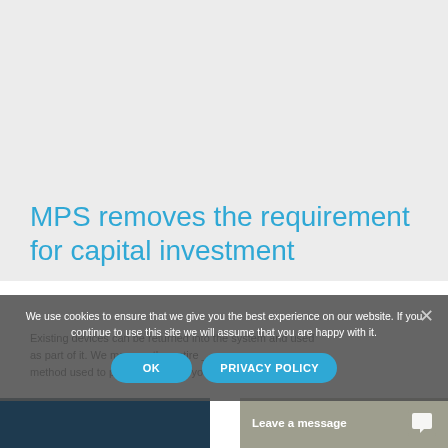MPS removes the requirement for capital investment
Existing devices can be returned into the system and used as part of it. We manage the entire ______ method used to provide you with your print – while you concentrate on your core business.
We use cookies to ensure that we give you the best experience on our website. If you continue to use this site we will assume that you are happy with it.
Leave a message